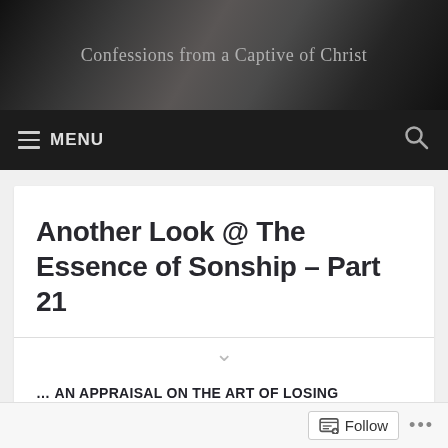Confessions from a Captive of Christ
Another Look @ The Essence of Sonship – Part 21
… AN APPRAISAL ON THE ART OF LOSING CONTROL & GAINING CONTROL
Dearly beloved,